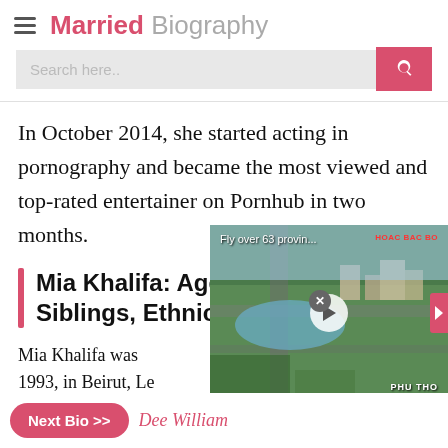Married Biography
In October 2014, she started acting in pornography and became the most viewed and top-rated entertainer on Pornhub in two months.
Mia Khalifa: Age, Parents, Siblings, Ethnicity, Education
Mia Khalifa was [born] 1993, in Beirut, Le[banon.] 29 years old. Ma[i...]
[Figure (screenshot): Video overlay showing aerial footage of a city, labeled 'Fly over 63 provin...' with a play button, HOAC BAC BO label at top right and PHU THO label at bottom right.]
Next Bio >> Dee Willia[ms]